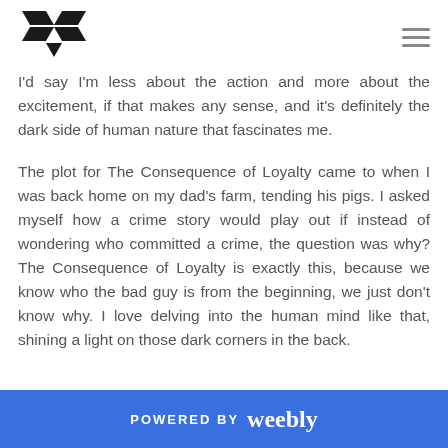[Figure (logo): Abstract book/letter logo in black with stylized pages]
I'd say I'm less about the action and more about the excitement, if that makes any sense, and it's definitely the dark side of human nature that fascinates me.
The plot for The Consequence of Loyalty came to when I was back home on my dad's farm, tending his pigs. I asked myself how a crime story would play out if instead of wondering who committed a crime, the question was why? The Consequence of Loyalty is exactly this, because we know who the bad guy is from the beginning, we just don't know why. I love delving into the human mind like that, shining a light on those dark corners in the back.
POWERED BY weebly